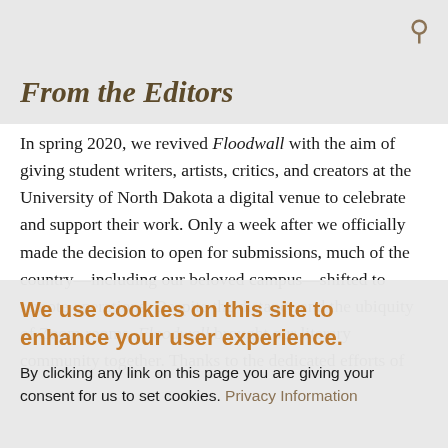From the Editors
In spring 2020, we revived Floodwall with the aim of giving student writers, artists, critics, and creators at the University of North Dakota a digital venue to celebrate and support their work. Only a week after we officially made the decision to open for submissions, much of the country—including our beloved campus—shifted to remote operations. Despite the distance and the ubiquity of Zoom rooms, Floodwall brought our literary community together. Thanks to the dedicated efforts of
We use cookies on this site to enhance your user experience.
By clicking any link on this page you are giving your consent for us to set cookies. Privacy Information